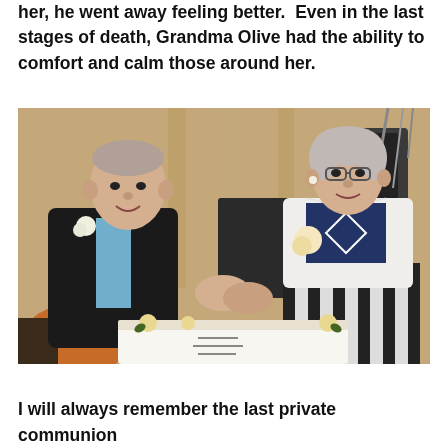her, he went away feeling better.  Even in the last stages of death, Grandma Olive had the ability to comfort and calm those around her.
[Figure (photo): An elderly couple cutting a cake together at what appears to be a celebration. The man on the left is wearing a dark suit with a white flower corsage, and the woman on the right is wearing a white cardigan over a navy and white striped dress, also with a flower corsage. There is a decorated white cake in front of them.]
I will always remember the last private communion